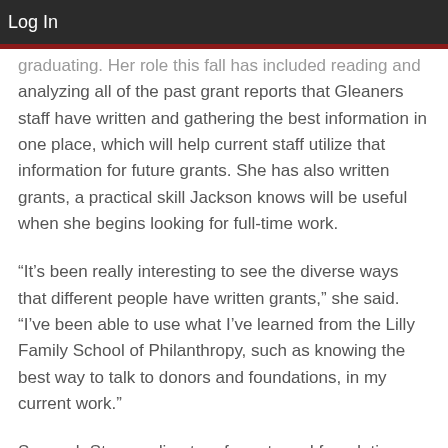Log In
graduating. Her role this fall has included reading and analyzing all of the past grant reports that Gleaners staff have written and gathering the best information in one place, which will help current staff utilize that information for future grants. She has also written grants, a practical skill Jackson knows will be useful when she begins looking for full-time work.
“It’s been really interesting to see the diverse ways that different people have written grants,” she said. “I’ve been able to use what I’ve learned from the Lilly Family School of Philanthropy, such as knowing the best way to talk to donors and foundations, in my current work.”
Savanah Strever, director of grants and foundation relations, shared her thoughts on the benefits of having